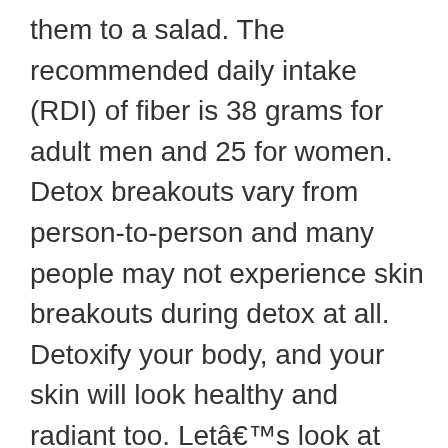them to a salad. The recommended daily intake (RDI) of fiber is 38 grams for adult men and 25 for women. Detox breakouts vary from person-to-person and many people may not experience skin breakouts during detox at all. Detoxify your body, and your skin will look healthy and radiant too. Letâs look at six, tells us, âHigh vitamin C intake is associated with, . Taken together in one superfruit, avocado provides a hefty one-two punch to help you fight wrinkles at any age. When embarking on a detox diet it���s important to have a collection of the best recipes to make sure you���s getting tasty, cleansing food. It is one of the best ways to detox the body … Our diet goes a long way to keeping us healthy on the inside and on the outside. ���A skin detox might include added exfoliation to remove build-up of dead cells on the surface of your skin for some, or cutting back on the